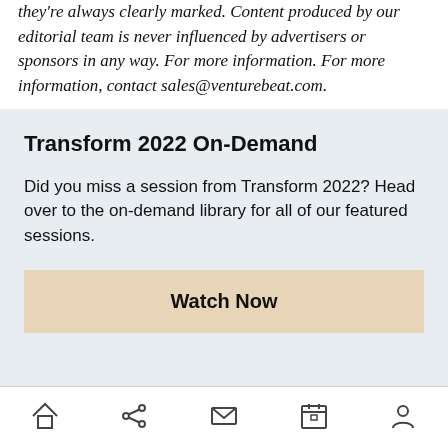they're always clearly marked. Content produced by our editorial team is never influenced by advertisers or sponsors in any way. For more information. For more information, contact sales@venturebeat.com.
Transform 2022 On-Demand
Did you miss a session from Transform 2022? Head over to the on-demand library for all of our featured sessions.
Watch Now
navigation icons: home, share, mail, calendar, profile